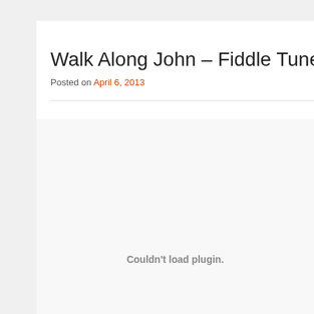Walk Along John – Fiddle Tune a Day –
Posted on April 6, 2013
[Figure (other): Plugin embed area showing 'Couldn't load plugin.' message in gray text on light gray background]